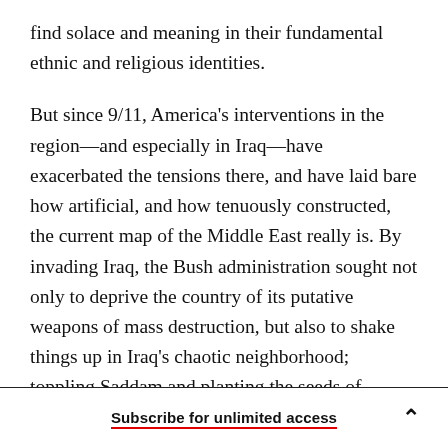find solace and meaning in their fundamental ethnic and religious identities.
But since 9/11, America's interventions in the region—and especially in Iraq—have exacerbated the tensions there, and have laid bare how artificial, and how tenuously constructed, the current map of the Middle East really is. By invading Iraq, the Bush administration sought not only to deprive the country of its putative weapons of mass destruction, but also to shake things up in Iraq's chaotic neighborhood; toppling Saddam and planting the seeds of democracy in Iraq would, it
Subscribe for unlimited access